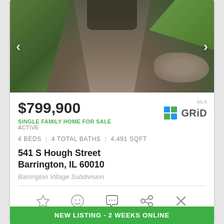[Figure (photo): Exterior photo showing a gravel driveway leading to a gate, surrounded by trees and stone walls with greenery.]
$799,900
SINGLE FAMILY HOME FOR SALE
ACTIVE
4 BEDS | 4 TOTAL BATHS | 4,491 SQFT
541 S Hough Street
Barrington, IL 60010
Barrington Village Subdivision
NEW LISTING - 2 WEEKS ONLINE